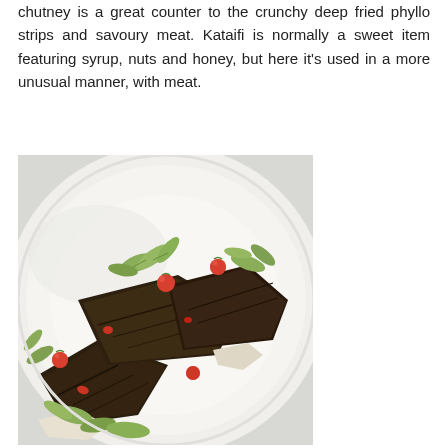chutney is a great counter to the crunchy deep fried phyllo strips and savoury meat. Kataifi is normally a sweet item featuring syrup, nuts and honey, but here it's used in a more unusual manner, with meat.
[Figure (photo): A plated dish featuring dark spice-crusted meat fillets served on a white plate, garnished with leafy green vegetables and small red tomatoes.]